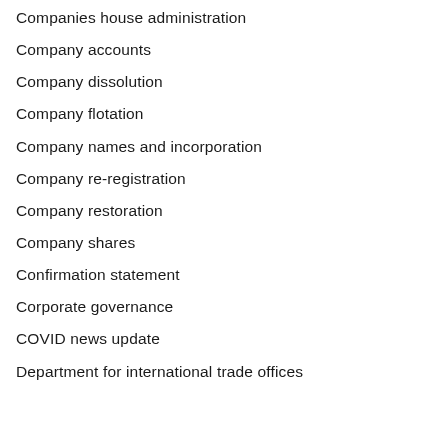Companies house administration
Company accounts
Company dissolution
Company flotation
Company names and incorporation
Company re-registration
Company restoration
Company shares
Confirmation statement
Corporate governance
COVID news update
Department for international trade offices